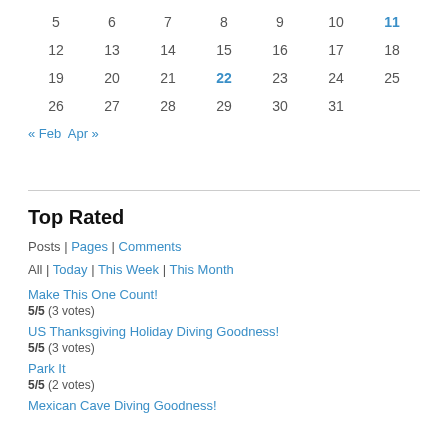| 5 | 6 | 7 | 8 | 9 | 10 | 11 |
| 12 | 13 | 14 | 15 | 16 | 17 | 18 |
| 19 | 20 | 21 | 22 | 23 | 24 | 25 |
| 26 | 27 | 28 | 29 | 30 | 31 |  |
« Feb   Apr »
Top Rated
Posts | Pages | Comments
All | Today | This Week | This Month
Make This One Count!
5/5 (3 votes)
US Thanksgiving Holiday Diving Goodness!
5/5 (3 votes)
Park It
5/5 (2 votes)
Mexican Cave Diving Goodness!